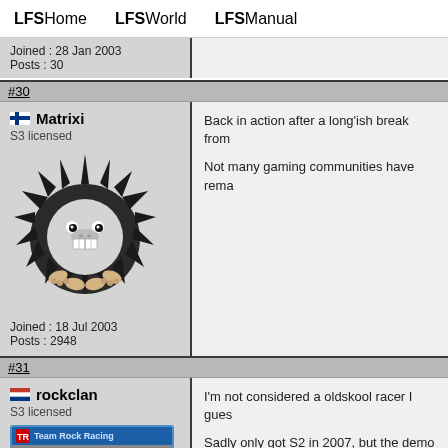LFSHome   LFSWorld   LFSManual
Joined : 28 Jan 2003
Posts : 30
#30
Matrixi
S3 licensed
Joined : 18 Jul 2003
Posts : 2948
Back in action after a long'ish break from
Not many gaming communities have rem
#31
rockclan
S3 licensed
I'm not considered a oldskool racer I gues
Sadly only got S2 in 2007, but the demo t
Can't say I particuraly remember anyone
I remember how drifting was at it's best d